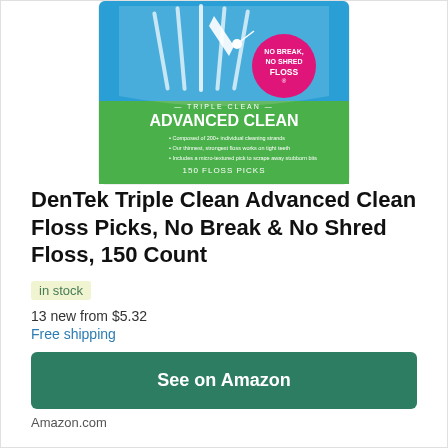[Figure (photo): DenTek Triple Clean Advanced Clean Floss Picks product package showing 150 floss picks with green and blue packaging. Pink badge reads NO BREAK, NO SHRED FLOSS. Package shows TRIPLE CLEAN ADVANCED CLEAN text and bullet points about 200+ individual cleaning strands, thinnest strongest floss for tight teeth, and micro-textured pick.]
DenTek Triple Clean Advanced Clean Floss Picks, No Break & No Shred Floss, 150 Count
in stock
13 new from $5.32
Free shipping
See on Amazon
Amazon.com